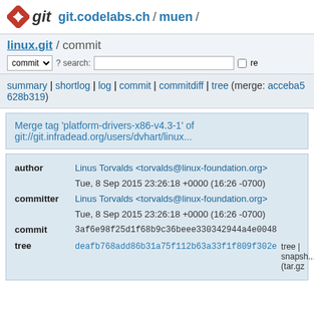git  git.codelabs.ch / muen /
linux.git / commit
summary | shortlog | log | commit | commitdiff | tree (merge: acceba5 628b319)
Merge tag 'platform-drivers-x86-v4.3-1' of git://git.infradead.org/users/dvhart/linux...
| author | Linus Torvalds <torvalds@linux-foundation.org> |  |
|  | Tue, 8 Sep 2015 23:26:18 +0000 (16:26 -0700) |  |
| committer | Linus Torvalds <torvalds@linux-foundation.org> |  |
|  | Tue, 8 Sep 2015 23:26:18 +0000 (16:26 -0700) |  |
| commit | 3af6e98f25d1f68b9c36beee330342944a4e0048 |  |
| tree | deafb768add86b31a75f112b63a33f1f809f302e | tree | snapsh... (tar.gz |